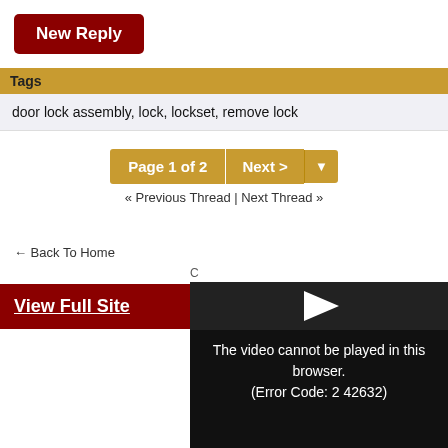New Reply
Tags
door lock assembly, lock, lockset, remove lock
Page 1 of 2  Next >
« Previous Thread | Next Thread »
← Back To Home
[Figure (screenshot): Video player overlay showing error: The video cannot be played in this browser. (Error Code: 2 42632)]
View Full Site
Search Eng...
AN ELIT...